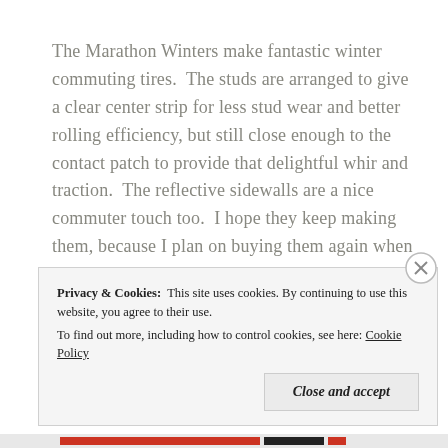The Marathon Winters make fantastic winter commuting tires. The studs are arranged to give a clear center strip for less stud wear and better rolling efficiency, but still close enough to the contact patch to provide that delightful whir and traction. The reflective sidewalls are a nice commuter touch too. I hope they keep making them, because I plan on buying them again when these wear out.
Privacy & Cookies: This site uses cookies. By continuing to use this website, you agree to their use. To find out more, including how to control cookies, see here: Cookie Policy